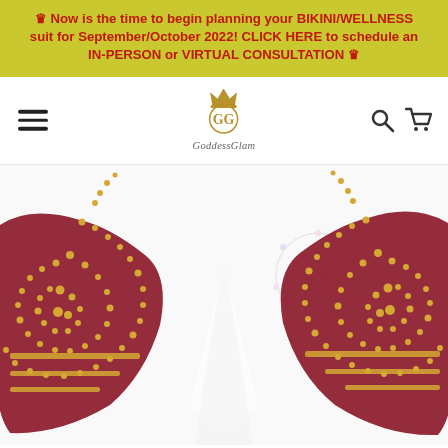👑 Now is the time to begin planning your BIKINI/WELLNESS suit for September/October 2022! CLICK HERE to schedule an IN-PERSON or VIRTUAL CONSULTATION 👑
[Figure (other): Website navigation bar with hamburger menu on left, GoddesGlam logo with crown in center, search and cart icons on right]
[Figure (photo): Close-up photo of a red/burgundy bikini top with gold rhinestone/crystal embellishments in swirling paisley patterns, displayed on white background with GoddesGlam watermark logo visible]